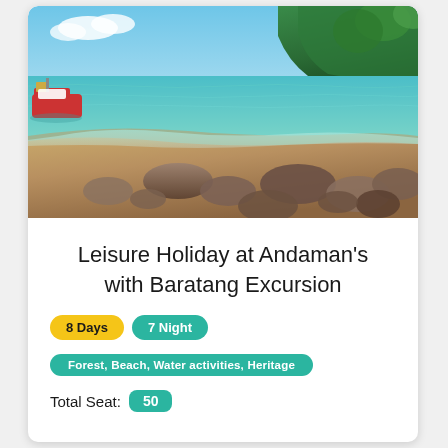[Figure (photo): Coastal scene with turquoise water, rocky shoreline, sandy beach, lush green cliffs in background, and a red boat on the left side of the sea]
Leisure Holiday at Andaman's with Baratang Excursion
8 Days  7 Night
Forest, Beach, Water activities, Heritage
Total Seat: 50